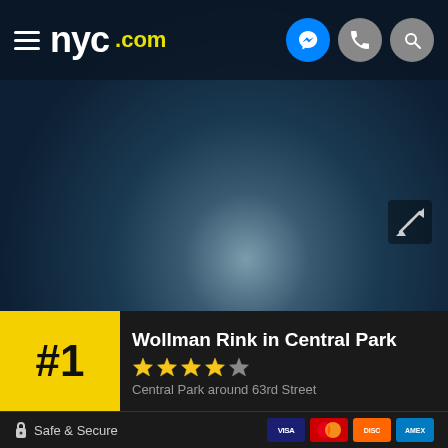[Figure (screenshot): NYC.com website screenshot showing a map view (dark blue/navy map background with a glowing white area in center), header with NYC.com logo and hamburger menu, messenger/phone/search icon buttons. Bottom panel shows a listing for Wollman Rink in Central Park with #1 badge, 4-star rating, and address. Footer has Safe & Secure text and payment card icons.]
Wollman Rink in Central Park
Central Park around 63rd Street
Safe & Secure